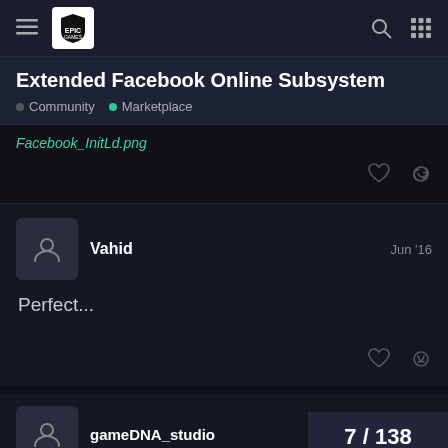Epic Games — Navigation bar
Extended Facebook Online Subsystem
Community • Marketplace
Facebook_InitLdipng
Vahid — Jun '16
Perfect...
gameDNA_studio
7 / 138